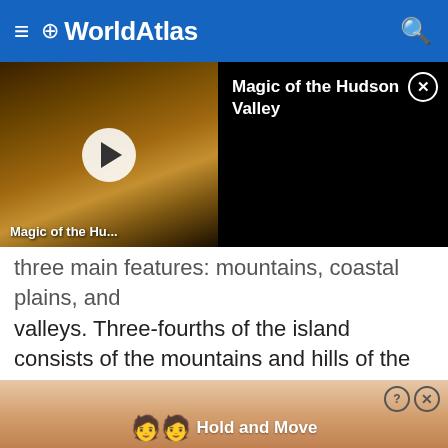≡ 🌐 WorldAtlas 🔍
[Figure (screenshot): Video player showing 'Magic of the Hudson Valley' with thumbnail of a person on a hilltop at sunset, play button in center, and video title panel on the right with close button.]
three main features: mountains, coastal plains, and valleys. Three-fourths of the island consists of the mountains and hills of the Central Cordillera. This area is surrounded by coastal plains. The rivers of Puerto Rico are narrow and unnavigable by boat, but they have proven to be a good source of hydroelectric power.
Lesser Antilles
[Figure (screenshot): Advertisement banner with cartoon figures, help and close icons, and text 'Hold and Move' on a sandy/peach gradient background.]